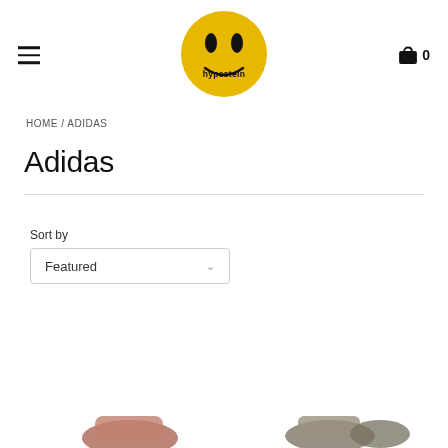[Figure (logo): Hypestein yellow smiley face logo circle with black eyes and 'hypestein' text]
HOME / ADIDAS
Adidas
Sort by
Featured
[Figure (photo): Partial product thumbnails visible at bottom of page]